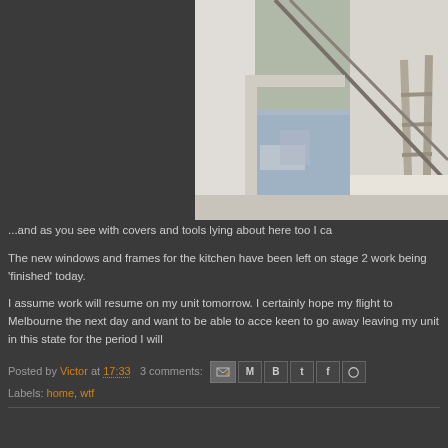[Figure (photo): Interior room under renovation with drop cloths/covers, tools including ladder and long poles/rods, window visible in background letting in natural light, cluttered construction scene]
...and as you see with covers and tools lying about here too I ca
The new windows and frames for the kitchen have been left on stage 2 work being 'finished' today.
I assume work will resume on my unit tomorrow. I certainly hope my flight to Melbourne the next day and want to be able to acce keen to go away leaving my unit in this state for the period I will
Posted by Victor at 17:33  3 comments:
Labels: home, wtf